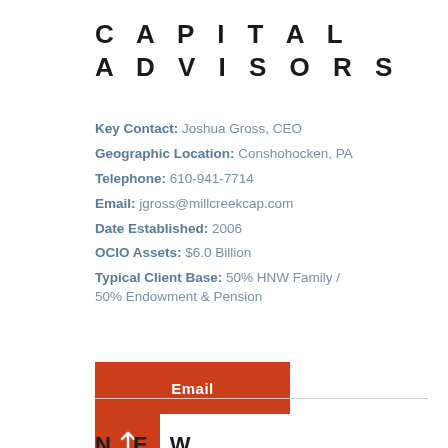CAPITAL ADVISORS
Key Contact: Joshua Gross, CEO
Geographic Location: Conshohocken, PA
Telephone: 610-941-7714
Email: jgross@millcreekcap.com
Date Established: 2006
OCIO Assets: $6.0 Billion
Typical Client Base: 50% HNW Family / 50% Endowment & Pension
Email
NEW